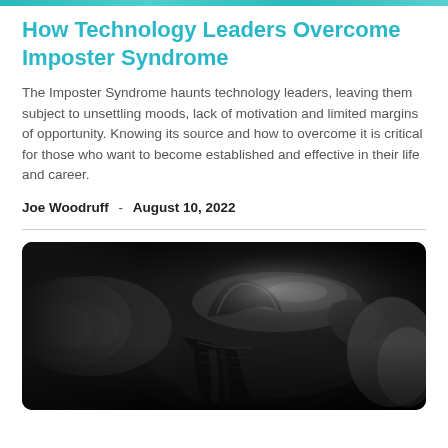How Technology Leaders Overcome Imposter Syndrome
The Imposter Syndrome haunts technology leaders, leaving them subject to unsettling moods, lack of motivation and limited margins of opportunity. Knowing its source and how to overcome it is critical for those who want to become established and effective in their life and career.
Joe Woodruff  -  August 10, 2022
[Figure (photo): Close-up photograph of a dark leather horse saddle on a horse, showing detailed leather texture and saddle shape in dark monochrome tones.]